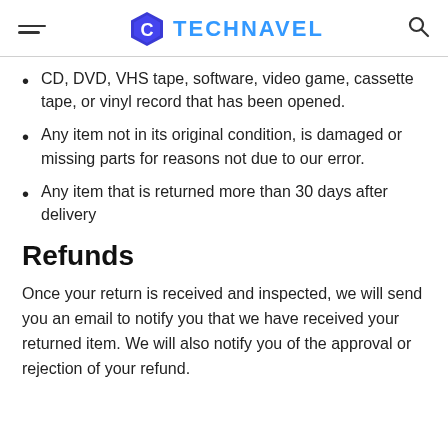TECHNAVEL
CD, DVD, VHS tape, software, video game, cassette tape, or vinyl record that has been opened.
Any item not in its original condition, is damaged or missing parts for reasons not due to our error.
Any item that is returned more than 30 days after delivery
Refunds
Once your return is received and inspected, we will send you an email to notify you that we have received your returned item. We will also notify you of the approval or rejection of your refund.